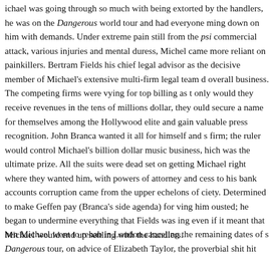ichael was going through so much with being extorted by the handlers, he was on the Dangerous world tour and had everyone ming down on him with demands. Under extreme pain still from the psi commercial attack, various injuries and mental duress, Michel came more reliant on painkillers. Bertram Fields his chief legal advisor as the decisive member of Michael's extensive multi-firm legal team d overall business. The competing firms were vying for top billing as t only would they receive revenues in the tens of millions dollar, they ould secure a name for themselves among the Hollywood elite and gain valuable press recognition. John Branca wanted it all for himself and s firm; the ruler would control Michael's billion dollar music business, hich was the ultimate prize. All the suits were dead set on getting Michael right where they wanted him, with powers of attorney and cess to his bank accounts corruption came from the upper echelons of ciety. Determined to make Geffen pay (Branca's side agenda) for ving him ousted; he began to undermine everything that Fields was ing even if it meant that Michael would end up settling with the handlers.
hen Michael went to rehab in London canceling the remaining dates of s Dangerous tour, on advice of Elizabeth Taylor, the proverbial shit hit